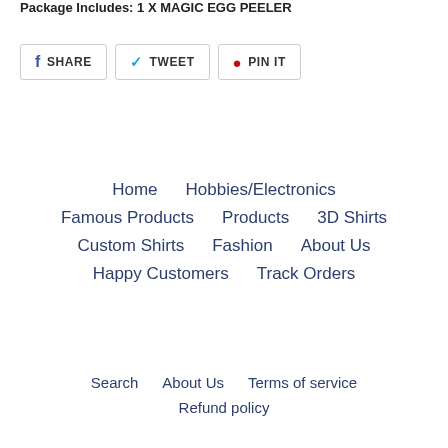Package Includes: 1 X MAGIC EGG PEELER
SHARE   TWEET   PIN IT
Home
Hobbies/Electronics
Famous Products
Products
3D Shirts
Custom Shirts
Fashion
About Us
Happy Customers
Track Orders
Search
About Us
Terms of service
Refund policy